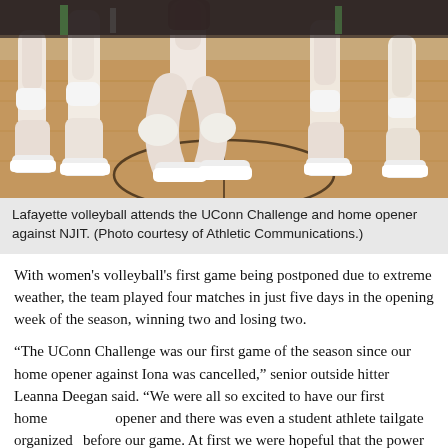[Figure (photo): Volleyball players' legs and feet on a hardwood basketball/volleyball court, wearing white shoes and knee pads, action shot from ground level]
Lafayette volleyball attends the UConn Challenge and home opener against NJIT. (Photo courtesy of Athletic Communications.)
With women's volleyball's first game being postponed due to extreme weather, the team played four matches in just five days in the opening week of the season, winning two and losing two.
“The UConn Challenge was our first game of the season since our home opener against Iona was cancelled,” senior outside hitter Leanna Deegan said. “We were all so excited to have our first home opener and there was even a student athlete tailgate organized before our game. At first we were hopeful that the power would be restored, but once we realized the game would probably not happen, we joined the tailgate in the dark.”